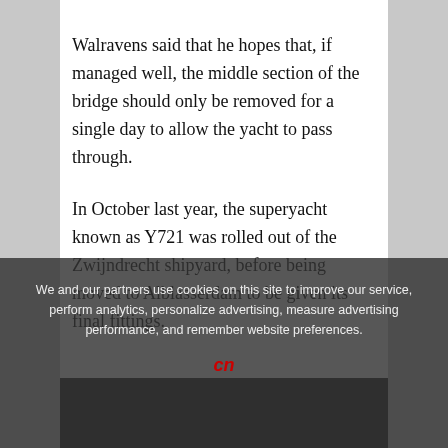Walravens said that he hopes that, if managed well, the middle section of the bridge should only be removed for a single day to allow the yacht to pass through.
In October last year, the superyacht known as Y721 was rolled out of the Zwijndrecht shipyard, before being moved to Alblasserdam to be given its final fittings.
It is being built by Oceanco and is thought to be based on the company's Black Pearl ship, one of the largest and most elite gigayachts in the world.
We and our partners use cookies on this site to improve our service, perform analytics, personalize advertising, measure advertising performance, and remember website preferences.
[Figure (photo): Dark image partially visible at bottom of page, appears to be a yacht or ship photo]